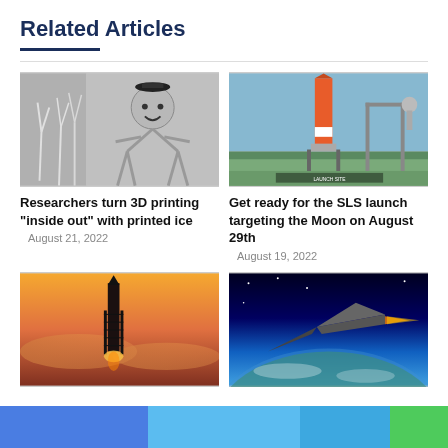Related Articles
[Figure (photo): 3D printed ice structures showing branching shapes and a robot-like figure with a smiley face made from printed ice]
Researchers turn 3D printing “inside out” with printed ice
August 21, 2022
[Figure (photo): NASA SLS rocket on the launch pad at Kennedy Space Center]
Get ready for the SLS launch targeting the Moon on August 29th
August 19, 2022
[Figure (photo): Rocket launch at sunset with the rocket silhouetted against a colorful sky]
[Figure (photo): Hypersonic aircraft concept flying above Earth's atmosphere]